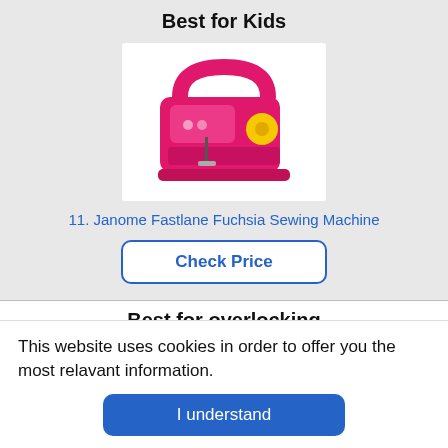Best for Kids
[Figure (photo): Pink Janome Fastlane Fuchsia sewing machine on white background]
11. Janome Fastlane Fuchsia Sewing Machine
Check Price
Best for overlocking
[Figure (photo): Two overlock/serger sewing machines side by side]
This website uses cookies in order to offer you the most relavant information.
I understand